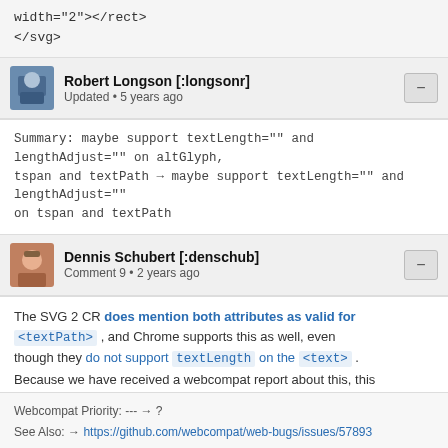width="2"></rect>
</svg>
Robert Longson [:longsonr]
Updated • 5 years ago
Summary: maybe support textLength="" and lengthAdjust="" on altGlyph, tspan and textPath → maybe support textLength="" and lengthAdjust="" on tspan and textPath
Dennis Schubert [:denschub]
Comment 9 • 2 years ago
The SVG 2 CR does mention both attributes as valid for <textPath> , and Chrome supports this as well, even though they do not support textLength on the <text> . Because we have received a webcompat report about this, this may be breaking some things.
Webcompat Priority: --- → ?
See Also: → https://github.com/webcompat/web-bugs/issues/57893